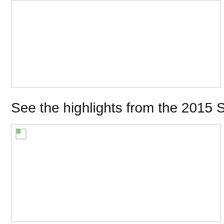[Figure (other): Empty white box with border — top content area (partially visible, cropped)]
See the highlights from the 2015 Summer Sem…
[Figure (photo): Broken/unloaded image placeholder with broken image icon in top-left corner]